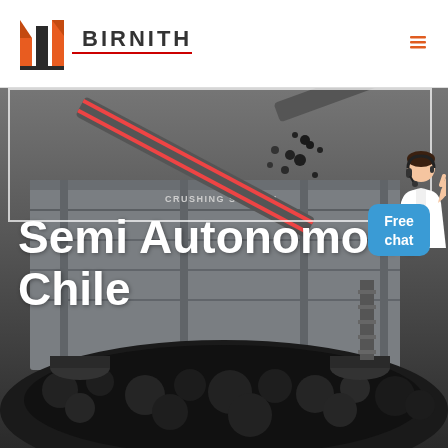[Figure (logo): Birnith company logo — stylized building/pillars icon in orange and dark grey, with the text BIRNITH in bold uppercase letters and a red underline]
[Figure (photo): Industrial crushing station machinery photograph — large mobile crushing station with conveyor belts, hydraulic arms, metal chassis, surrounded by piles of crushed black rock/coal. Dark, gritty industrial scene.]
Semi Autonomous Chile
[Figure (other): Free chat button — blue rounded rectangle with white text reading Free chat, with a customer service representative figure above it]